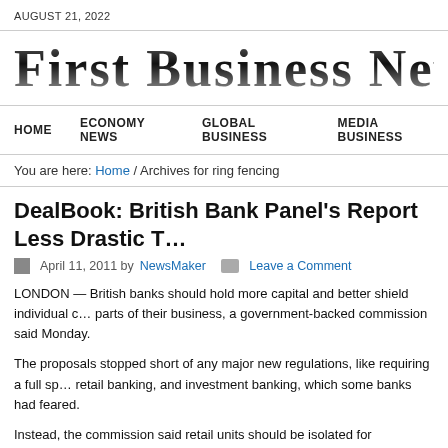AUGUST 21, 2022
[Figure (logo): First Business News masthead logo in large serif font]
HOME   ECONOMY NEWS   GLOBAL BUSINESS   MEDIA BUSINESS
You are here: Home / Archives for ring fencing
DealBook: British Bank Panel's Report Less Drastic T…
April 11, 2011 by NewsMaker   Leave a Comment
LONDON — British banks should hold more capital and better shield individual c… parts of their business, a government-backed commission said Monday.
The proposals stopped short of any major new regulations, like requiring a full sp… retail banking, and investment banking, which some banks had feared.
Instead, the commission said retail units should be isolated for protection, or ring… even if other parts of the banks needed to be wound down.
Shares in British banks were mixed in late trading in London on Monday, with Ba…